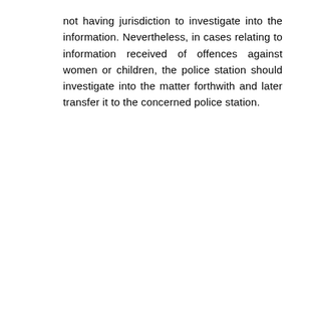not having jurisdiction to investigate into the information. Nevertheless, in cases relating to information received of offences against women or children, the police station should investigate into the matter forthwith and later transfer it to the concerned police station.